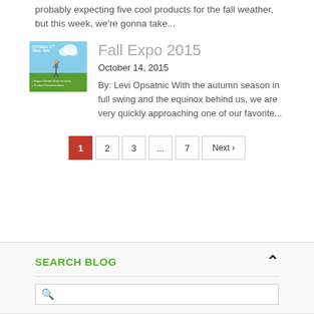probably expecting five cool products for the fall weather, but this week, we're gonna take...
[Figure (photo): Event flyer/thumbnail for Fall Expo 2015, showing a person against a sky background with text 'October 11th 10am-6pm' and bullet points about vendor reps and product demonstrations]
Fall Expo 2015
October 14, 2015
By: Levi Opsatnic With the autumn season in full swing and the equinox behind us, we are very quickly approaching one of our favorite...
1 2 3 ... 7 Next ›
SEARCH BLOG